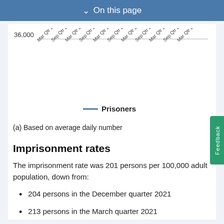On this page
[Figure (line-chart): Line chart showing number of prisoners over time from Mar Qtr 2017 to Mar Qtr 2022, with y-axis showing 36,000 visible]
(a) Based on average daily number
Imprisonment rates
The imprisonment rate was 201 persons per 100,000 adult population, down from:
204 persons in the December quarter 2021
213 persons in the March quarter 2021